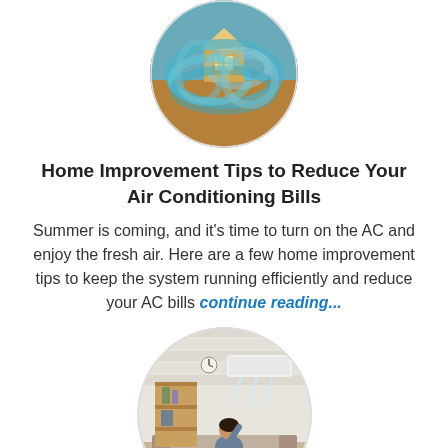[Figure (photo): Circular photo of a small model house wrapped in a blue knitted/yarn scarf against a warm blurred background.]
Home Improvement Tips to Reduce Your Air Conditioning Bills
Summer is coming, and it’s time to turn on the AC and enjoy the fresh air. Here are a few home improvement tips to keep the system running efficiently and reduce your AC bills continue reading...
[Figure (photo): Circular photo of a woman sitting on a couch enjoying cool air from a wall-mounted air conditioning unit in a bright room with white brick walls and wooden shelving.]